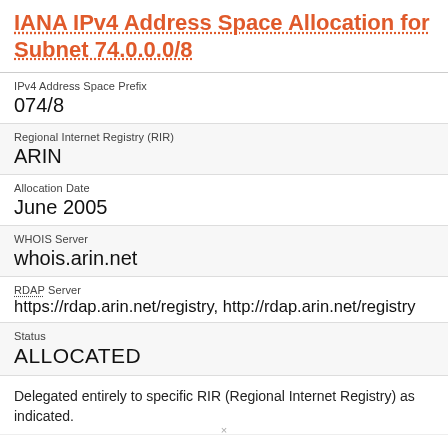IANA IPv4 Address Space Allocation for Subnet 74.0.0.0/8
IPv4 Address Space Prefix
074/8
Regional Internet Registry (RIR)
ARIN
Allocation Date
June 2005
WHOIS Server
whois.arin.net
RDAP Server
https://rdap.arin.net/registry, http://rdap.arin.net/registry
Status
ALLOCATED
Delegated entirely to specific RIR (Regional Internet Registry) as indicated.